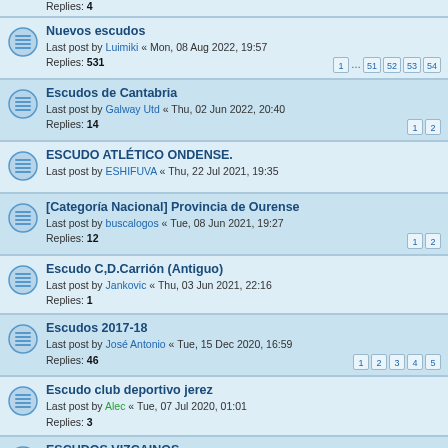Nuevos escudos — Last post by Luimiki « Mon, 08 Aug 2022, 19:57 — Replies: 531 — Pages: 1 … 51 52 53 54
Escudos de Cantabria — Last post by Galway Utd « Thu, 02 Jun 2022, 20:40 — Replies: 14 — Pages: 1 2
ESCUDO ATLÉTICO ONDENSE. — Last post by ESHIFUVA « Thu, 22 Jul 2021, 19:35
[Categoría Nacional] Provincia de Ourense — Last post by buscalogos « Tue, 08 Jun 2021, 19:27 — Replies: 12 — Pages: 1 2
Escudo C,D.Carrión (Antiguo) — Last post by Jankovic « Thu, 03 Jun 2021, 22:16 — Replies: 1
Escudos 2017-18 — Last post by José Antonio « Tue, 15 Dec 2020, 16:59 — Replies: 46 — Pages: 1 2 3 4 5
Escudo club deportivo jerez — Last post by Alec « Tue, 07 Jul 2020, 01:01 — Replies: 3
ESCUDOS VIZCAINOS — Last post by JorgeFL « Thu, 02 Jul 2020, 09:47 — Replies: 5